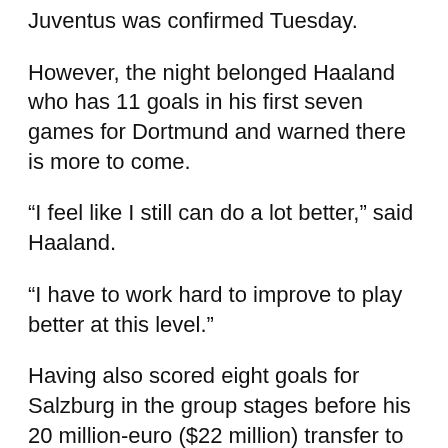Juventus was confirmed Tuesday.
However, the night belonged Haaland who has 11 goals in his first seven games for Dortmund and warned there is more to come.
“I feel like I still can do a lot better,” said Haaland.
“I have to work hard to improve to play better at this level.”
Having also scored eight goals for Salzburg in the group stages before his 20 million-euro ($22 million) transfer to Dortmund, Haaland made Champions League history on Tuesday.
His tally of 10 goals in his first seven Champions League